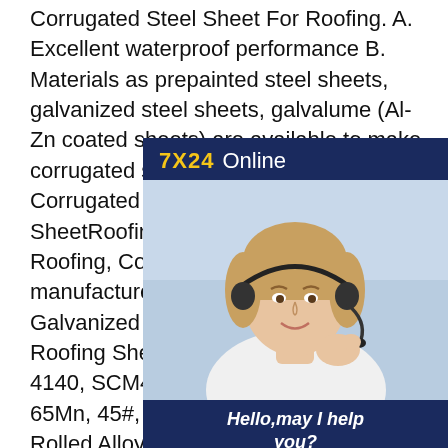Corrugated Steel Sheet For Roofing. A. Excellent waterproof performance B. Materials as prepainted steel sheets, galvanized steel sheets, galvalume (Al-Zn coated sheets) are available to make corrugated sheet.Gi Galvanized Corrugated Iron Sheet Zinc Metal SheetRoofing Sheet, Sheet Metal Roofing, Corrugated Roofing Sheet manufacturer / supplier in China, Gi Galvanized Corrugated Iron Sheet Zinc Metal Roofing Sheet, China Mill Factory (ASTM 4140, SCM440, S45C, 40Cr, 42CrMo, 65Mn, 45#, 12Cr1MOV, 27SiMn) Hot Rolled Alloy Steel Coil for Building Material and Construction, China Mill Factory Manufacture Gi PPGI Galvanized Alu Zinc Coated Galvanized Steel Roofing Plate Zin Coated Corrugated Iron Roof
[Figure (photo): Customer service chat widget overlay showing a woman with a headset smiling, with '7X24 Online' header in dark blue/yellow, a greeting 'Hello, may I help you?' in white italic text, and a yellow 'Get Latest Price' button.]